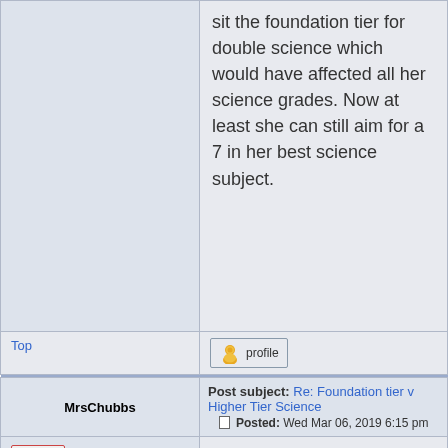sit the foundation tier for double science which would have affected all her science grades. Now at least she can still aim for a 7 in her best science subject.
Top
profile
Post subject: Re: Foundation tier v Higher Tier Science
Posted: Wed Mar 06, 2019 6:15 pm
MrsChubbs
offline
Joined: Tue Jan 22, 2008 7:36 pm
Posts: 363
Location: High Wycombe
AQA individual sciences and trilogy or synergy the higher paper will categorically only go down to grade 4 this summer. The grade 3 was a special dispensation last year as it was the first year of examining the new specs and many schools entered their pupils for the higher paper in eeror in hindsight. Ofqual were faced with the